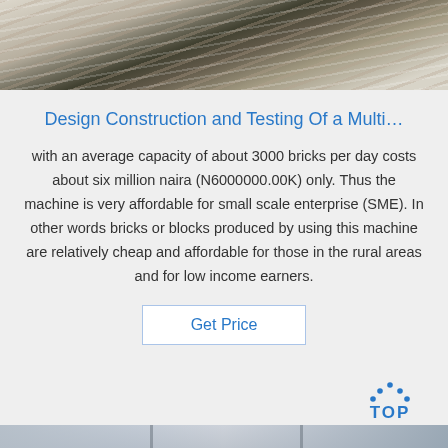[Figure (photo): Industrial machinery or metal sheets shown with motion blur effect, silver and dark tones]
Design Construction and Testing Of a Multi…
with an average capacity of about 3000 bricks per day costs about six million naira (N6000000.00K) only. Thus the machine is very affordable for small scale enterprise (SME). In other words bricks or blocks produced by using this machine are relatively cheap and affordable for those in the rural areas and for low income earners.
Get Price
[Figure (photo): Industrial factory interior with columns and ceiling lights, worker visible on right side]